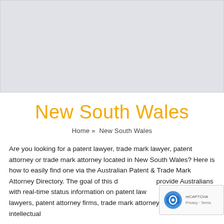[Figure (other): Gray advertisement banner placeholder at top of page]
New South Wales
Home » New South Wales
Are you looking for a patent lawyer, trade mark lawyer, patent attorney or trade mark attorney located in New South Wales? Here is how to easily find one via the Australian Patent & Trade Mark Attorney Directory. The goal of this d... provide Australians with real-time status information on patent law... mark lawyers, patent attorney firms, trade mark attorney firms and intellectual